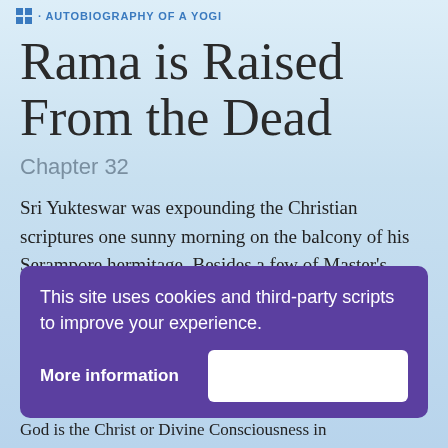AUTOBIOGRAPHY OF A YOGI
Rama is Raised From the Dead
Chapter 32
Sri Yukteswar was expounding the Christian scriptures one sunny morning on the balcony of his Serampore hermitage. Besides a few of Master's other disciples, I was present with a colleague from Benghiat school...
This site uses cookies and third-party scripts to improve your experience.
More information
God is the Christ or Divine Consciousness in